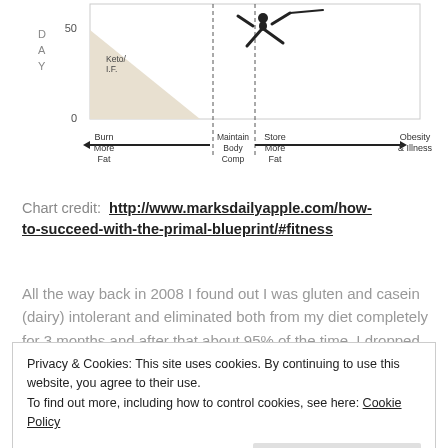[Figure (other): Carbohydrate curve chart showing zones: Keto/I.F. at low end, with arrows indicating Burn More Fat, Maintain Body Comp, Store More Fat, and Obesity & Illness at high end. Y-axis shows value 50 and 0. A silhouette of a jumping person is shown in the chart area.]
Chart credit:  http://www.marksdailyapple.com/how-to-succeed-with-the-primal-blueprint/#fitness
All the way back in 2008 I found out I was gluten and casein (dairy) intolerant and eliminated both from my diet completely for 3 months and after that about 95% of the time. I dropped one size immediately and had no migraines for seven months. After reading Robb Wolf's
Privacy & Cookies: This site uses cookies. By continuing to use this website, you agree to their use.
To find out more, including how to control cookies, see here: Cookie Policy
three months I lost another two full pant sizes. It